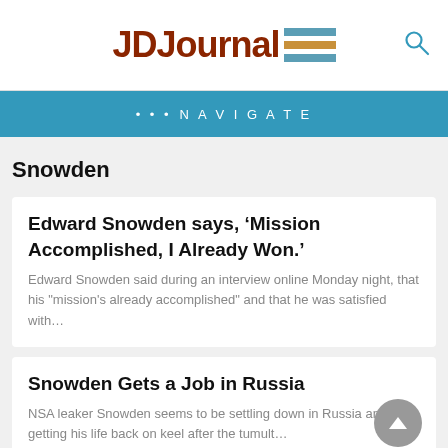JDJournal
••• NAVIGATE
Snowden
Edward Snowden says, ‘Mission Accomplished, I Already Won.’
Edward Snowden said during an interview online Monday night, that his "mission's already accomplished" and that he was satisfied with…
Snowden Gets a Job in Russia
NSA leaker Snowden seems to be settling down in Russia and getting his life back on keel after the tumult…